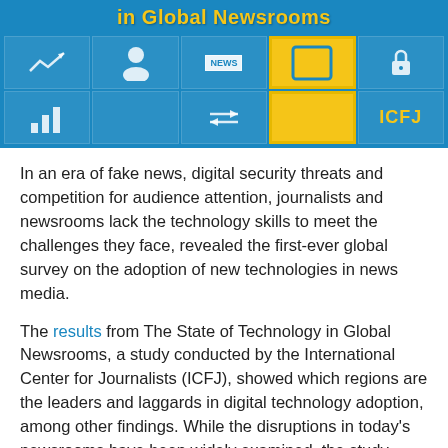[Figure (infographic): Blue banner header with yellow title text reading 'in Global Newsrooms' and a grid of technology-themed icons including a graph, person, news badge, tablet, lock, bar chart, arrows, and ICFJ logo]
In an era of fake news, digital security threats and competition for audience attention, journalists and newsrooms lack the technology skills to meet the challenges they face, revealed the first-ever global survey on the adoption of new technologies in news media.
The results from The State of Technology in Global Newsrooms, a study conducted by the International Center for Journalists (ICFJ), showed which regions are the leaders and laggards in digital technology adoption, among other findings. While the disruptions in today’s newsrooms have been widely examined, the study focused on a missing link: how